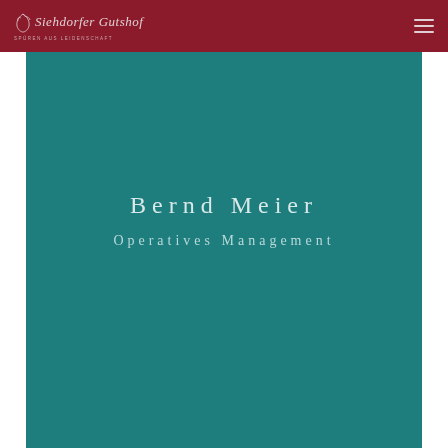Siehdorfer Gutshof — SPÜREN AUS LEIDENSCHAFT
Bernd Meier
Operatives Management